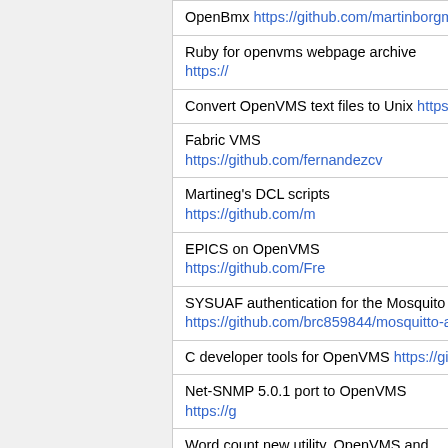OpenBmx https://github.com/martinborgma...
Ruby for openvms webpage archive https://...
Convert OpenVMS text files to Unix https://...
Fabric VMS https://github.com/fernandezc...
Martineg's DCL scripts https://github.com/m...
EPICS on OpenVMS https://github.com/Fre...
SYSUAF authentication for the Mosquito M... https://github.com/brc859844/mosquitto-au...
C developer tools for OpenVMS https://gith...
Net-SNMP 5.0.1 port to OpenVMS https://g...
Word count new utility. OpenVMS and *NIX...
Java NIO.2 FileTypeDetector Implementati... https://github.com/urbancamo/openvms-file...
LDAP authentication agent for WASD HTT... https://github.com/ztmr/WASD_LDAP_AUT...
Try to create a OpenVMS project from mer... system. https://github.com/jloewecke/Ope...